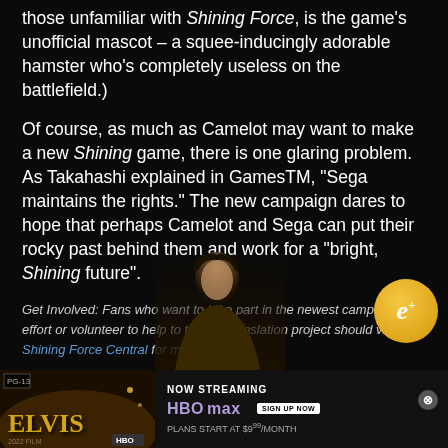those unfamiliar with Shining Force, is the game's unofficial mascot – a squee-inducingly adorable hamster who's completely useless on the battlefield.)
Of course, as much as Camelot may want to make a new Shining game, there is one glaring problem. As Takahashi explained in GamesTM, "Sega maintains the rights." The new campaign dares to hope that perhaps Camelot and Sega can put their rocky past behind them and work for a "bright, Shining future".
Get Involved: Fans who want to take part in the newest campaign effort or volunteer to help to the fan translation project should visit Shining Force Central for more details.
Lisa Gay is a freelance writer dividing time between Tokyo and…
[Figure (infographic): HBO Max advertisement for the Elvis movie, showing movie poster on left with 'NOW STREAMING' text, HBO Max logo, SIGN UP NOW button, and 'PLANS START AT $9.99/MONTH' text. An e+ gold badge is visible in the upper right area.]